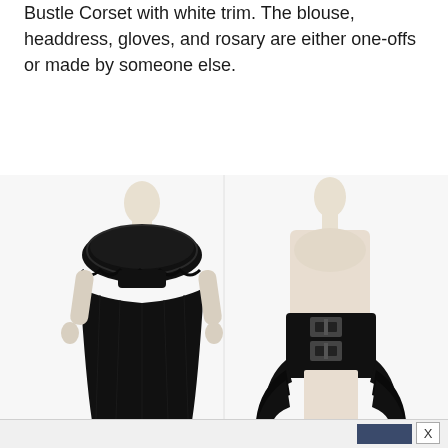Bustle Corset with white trim. The blouse, headdress, gloves, and rosary are either one-offs or made by someone else.
[Figure (photo): Two mannequins displaying gothic lolita fashion. Left mannequin wears a black lace cape blouse over a long black gathered skirt. Right mannequin wears a black bustle corset with large square buckles and ruffled side panels, on a cream/white torso mannequin.]